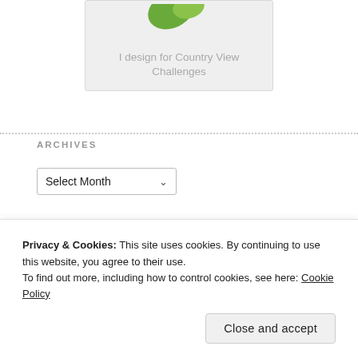[Figure (illustration): Badge image with green leaf/logo shape partially visible at top]
I design for Country View Challenges
ARCHIVES
Select Month (dropdown)
ART JOURNAL JOURNEY
[Figure (illustration): Partial image with yellow and dark red border, partial illustration visible]
Privacy & Cookies: This site uses cookies. By continuing to use this website, you agree to their use.
To find out more, including how to control cookies, see here: Cookie Policy
Close and accept